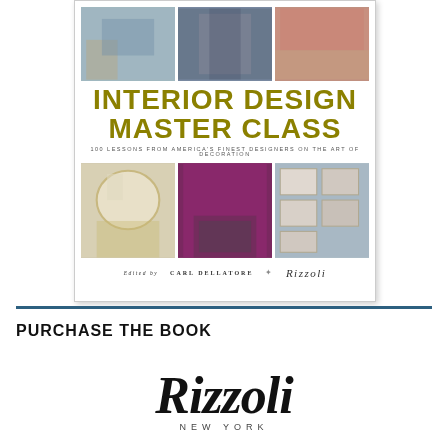[Figure (photo): Book cover of 'Interior Design Master Class: 100 Lessons from America's Finest Designers on the Art of Decoration', edited by Carl Dellatore, published by Rizzoli. Cover shows six interior design photographs arranged in two rows of three, with large olive/gold title text in the center.]
PURCHASE THE BOOK
[Figure (logo): Rizzoli New York logo — italic script 'Rizzoli' in large text above 'NEW YORK' in small spaced capitals.]